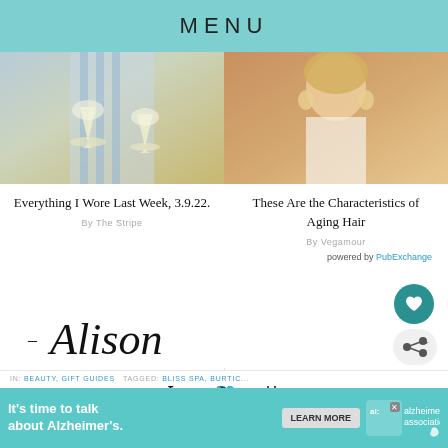MENU
[Figure (photo): Two wine glasses held by person in light blue striped shirt]
[Figure (photo): Woman with blonde hair wearing white top and large earrings]
Everything I Wore Last Week, 3.9.22.
By The Stripe
These Are the Characteristics of Aging Hair
By Vegamour
powered by PubExchange
[Figure (illustration): Cursive signature reading - Alison]
[Figure (infographic): Social media share icons: Facebook, Twitter, Pinterest]
IN: BEAUTY, GIFT GUIDES   TAGGED: BLISS SPA, BURTIS
[Figure (other): Advertisement banner: It's time to talk about Alzheimer's. LEARN MORE. Alzheimer's Association logo.]